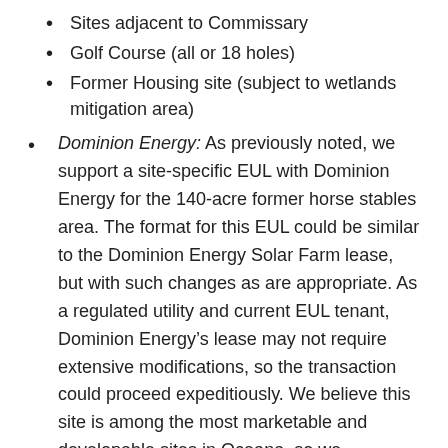Sites adjacent to Commissary
Golf Course (all or 18 holes)
Former Housing site (subject to wetlands mitigation area)
Dominion Energy: As previously noted, we support a site-specific EUL with Dominion Energy for the 140-acre former horse stables area. The format for this EUL could be similar to the Dominion Energy Solar Farm lease, but with such changes as are appropriate. As a regulated utility and current EUL tenant, Dominion Energy’s lease may not require extensive modifications, so the transaction could proceed expeditiously. We believe this site is among the most marketable and developable sites in Oceana, so we recommend the Navy carefully consider the market value of the site before